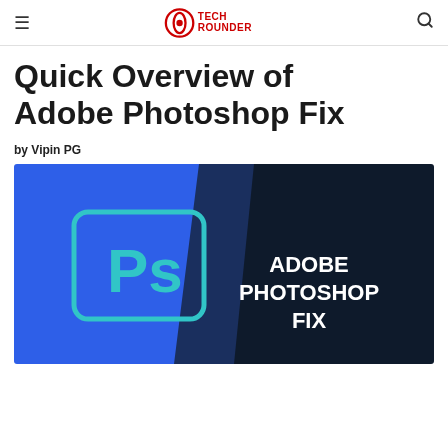TechRounder
Quick Overview of Adobe Photoshop Fix
by Vipin PG
[Figure (illustration): Split image showing Adobe Photoshop logo (Ps) on a blue background on the left, and text 'ADOBE PHOTOSHOP FIX' in white bold font on a dark navy background on the right.]